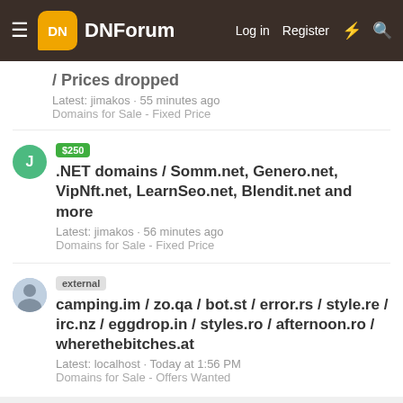DNForum - Log in - Register
/ Prices dropped - Latest: jimakos · 55 minutes ago - Domains for Sale - Fixed Price
$250 .NET domains / Somm.net, Genero.net, VipNft.net, LearnSeo.net, Blendit.net and more - Latest: jimakos · 56 minutes ago - Domains for Sale - Fixed Price
external camping.im / zo.qa / bot.st / error.rs / style.re / irc.nz / eggdrop.in / styles.ro / afternoon.ro / wherethebitches.at - Latest: localhost · Today at 1:56 PM - Domains for Sale - Offers Wanted
Share this page